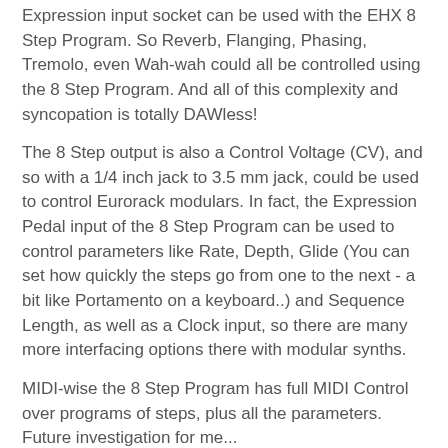Expression input socket can be used with the EHX 8 Step Program. So Reverb, Flanging, Phasing, Tremolo, even Wah-wah could all be controlled using the 8 Step Program. And all of this complexity and syncopation is totally DAWless!
The 8 Step output is also a Control Voltage (CV), and so with a 1/4 inch jack to 3.5 mm jack, could be used to control Eurorack modulars. In fact, the Expression Pedal input of the 8 Step Program can be used to control parameters like Rate, Depth, Glide (You can set how quickly the steps go from one to the next - a bit like Portamento on a keyboard..) and Sequence Length, as well as a Clock input, so there are many more interfacing options there with modular synths.
MIDI-wise the 8 Step Program has full MIDI Control over programs of steps, plus all the parameters.  Future investigation for me...
Summary
The Electro-Harmonix 8 Step Program is just a small pedal, but the possibilities for using it in a DAWless context...